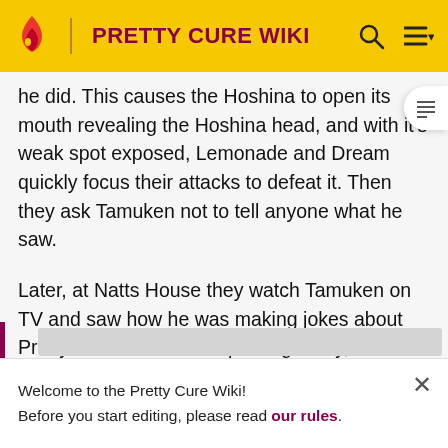PRETTY CURE WIKI
he did. This causes the Hoshina to open its mouth revealing the Hoshina head, and with it's weak spot exposed, Lemonade and Dream quickly focus their attacks to defeat it. Then they ask Tamuken not to tell anyone what he saw.
Later, at Natts House they watch Tamuken on TV and saw how he was making jokes about Pretty Cure. This ends up being funny, when Urara suddenly recalling how she recognized him and explains to the others how famous he is.
Welcome to the Pretty Cure Wiki!
Before you start editing, please read our rules.